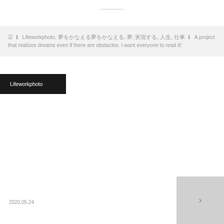Lifeworkphoto, 夢をかなえる, 夢, 実現する, 人生, 仕事  A project that realizes dreams even if there are obstacles. I want everyone to read it!
Lifeworkphoto
2020.05.24